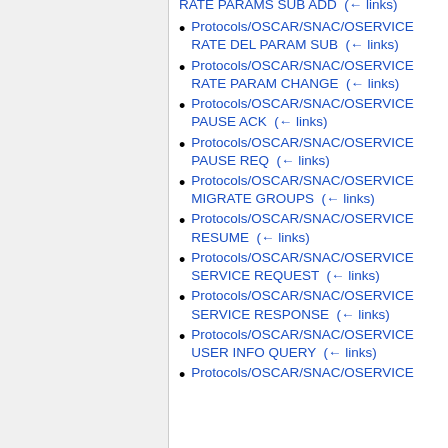Protocols/OSCAR/SNAC/OSERVICE RATE PARAMS SUB ADD (← links)
Protocols/OSCAR/SNAC/OSERVICE RATE DEL PARAM SUB (← links)
Protocols/OSCAR/SNAC/OSERVICE RATE PARAM CHANGE (← links)
Protocols/OSCAR/SNAC/OSERVICE PAUSE ACK (← links)
Protocols/OSCAR/SNAC/OSERVICE PAUSE REQ (← links)
Protocols/OSCAR/SNAC/OSERVICE MIGRATE GROUPS (← links)
Protocols/OSCAR/SNAC/OSERVICE RESUME (← links)
Protocols/OSCAR/SNAC/OSERVICE SERVICE REQUEST (← links)
Protocols/OSCAR/SNAC/OSERVICE SERVICE RESPONSE (← links)
Protocols/OSCAR/SNAC/OSERVICE USER INFO QUERY (← links)
Protocols/OSCAR/SNAC/OSERVICE ...